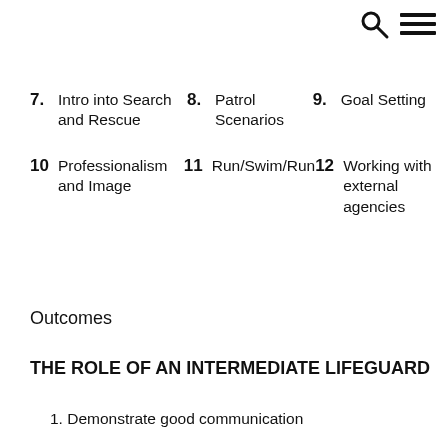Search and Menu icons
7. Intro into Search and Rescue
8. Patrol Scenarios
9. Goal Setting
10 Professionalism and Image
11 Run/Swim/Run
12 Working with external agencies
Outcomes
THE ROLE OF AN INTERMEDIATE LIFEGUARD
1. Demonstrate good communication